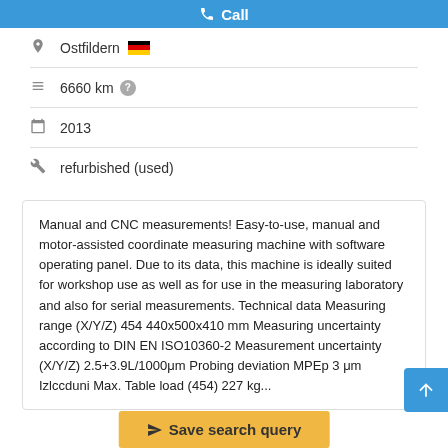Call
Ostfildern
6660 km
2013
refurbished (used)
Manual and CNC measurements! Easy-to-use, manual and motor-assisted coordinate measuring machine with software operating panel. Due to its data, this machine is ideally suited for workshop use as well as for use in the measuring laboratory and also for serial measurements. Technical data Measuring range (X/Y/Z) 454 440x500x410 mm Measuring uncertainty according to DIN EN ISO10360-2 Measurement uncertainty (X/Y/Z) 2.5+3.9L/1000μm Probing deviation MPEp 3 μm Izlccduni Max. Table load (454) 227 kg...
Save search query